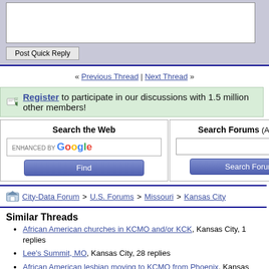[Figure (screenshot): Quick reply textarea input box]
Post Quick Reply
« Previous Thread | Next Thread »
Register to participate in our discussions with 1.5 million other members!
[Figure (screenshot): Search the Web enhanced by Google with Find button]
[Figure (screenshot): Search Forums (Advanced) with search input and Search Forum button]
City-Data Forum > U.S. Forums > Missouri > Kansas City
Similar Threads
African American churches in KCMO and/or KCK, Kansas City, 1 replies
Lee's Summit, MO, Kansas City, 28 replies
African American lesbian moving to KCMO from Phoenix, Kansas City, 15 replies
Considering Lee's Summit, Kansas City, 5 replies
Info on Lee's Summit, Kansas City, 19 replies
Recently visited forums:
Kansas City